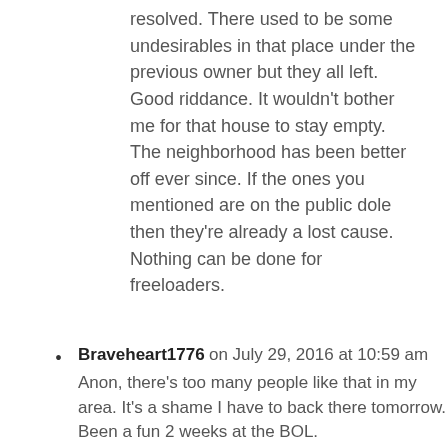resolved. There used to be some undesirables in that place under the previous owner but they all left. Good riddance. It wouldn't bother me for that house to stay empty. The neighborhood has been better off ever since. If the ones you mentioned are on the public dole then they're already a lost cause. Nothing can be done for freeloaders.
Braveheart1776 on July 29, 2016 at 10:59 am
Anon, there's too many people like that in my area. It's a shame I have to back there tomorrow. Been a fun 2 weeks at the BOL.
anon on July 29, 2016 at 11:29 am
Braveheart1776 and Grandee.